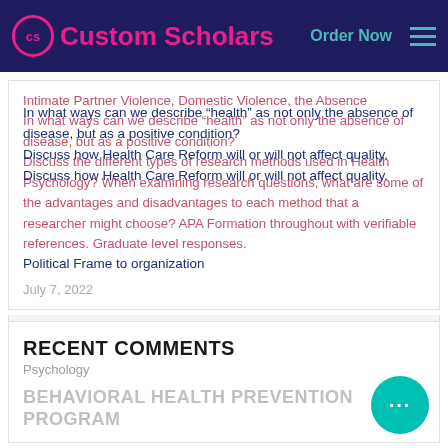Custom Scholars — Order Now
Intimate Partner Violence, Domestic Violence, the Absence
In what ways can we describe "health" as not only the absence of disease, but as a positive condition?
Discuss the different types of research methods used in Health Psychology? When examining research questions, what are some of the advantages and disadvantages to each method that a researcher might choose? APA Formation throughout with verifiable references. Graduate level responses.
Discuss how Health Care Reform will or will not affect quality.
Discuss how Health Care Reform will or will not affect quality.
Political Frame to organization
July 7, 2022
RECENT COMMENTS
Psychology
BEHAVIORAL HEALTH PREVENTION PROGRAM